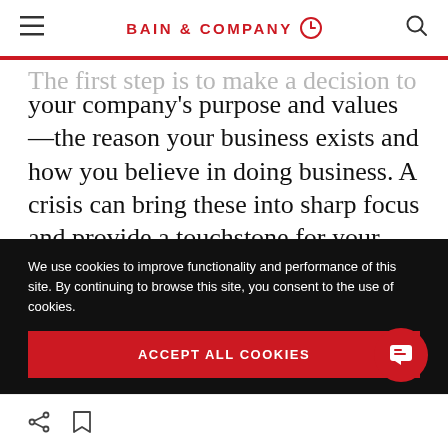BAIN & COMPANY
The first step is to make a decision to reflect on your company's purpose and values—the reason your business exists and how you believe in doing business. A crisis can bring these into sharp focus and provide a touchstone for your choices. What are you doing (or could you do) to act in congruence with your purpose and values?
We use cookies to improve functionality and performance of this site. By continuing to browse this site, you consent to the use of cookies.
ACCEPT ALL COOKIES